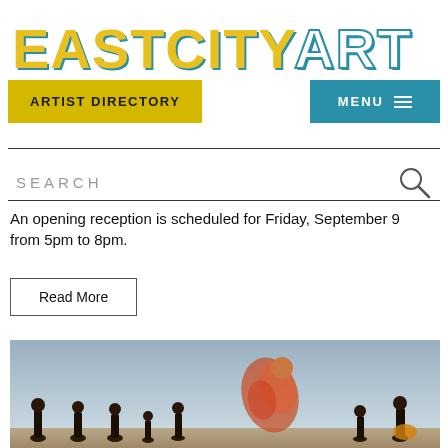EASTCITYART
ARTIST DIRECTORY
MENU ≡
SEARCH
An opening reception is scheduled for Friday, September 9 from 5pm to 8pm.
Read More
[Figure (photo): A group of people outdoors against a pale blue-grey sky; one person appears to be jumping or moving with motion blur, wearing red/orange clothing.]